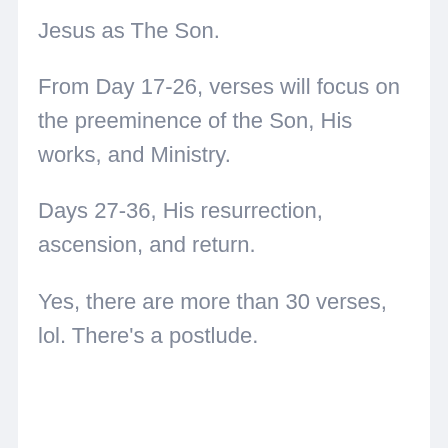Jesus as The Son.
From Day 17-26, verses will focus on the preeminence of the Son, His works, and Ministry.
Days 27-36, His resurrection, ascension, and return.
Yes, there are more than 30 verses, lol. There’s a postlude.